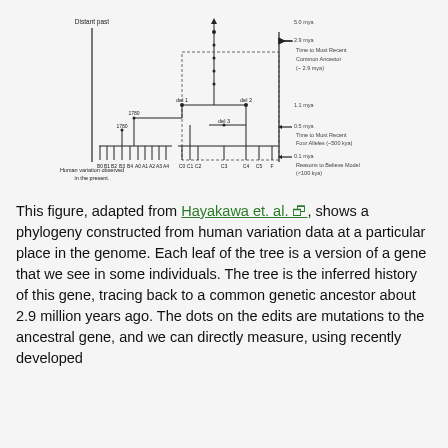[Figure (other): A phylogenetic tree diagram showing human genetic variation at a genomic locus. The tree has a vertical time axis (Distant past at top, Human variation observed in the present at bottom). Branches show ancestral splits labeled del 1, del 2, del 3, with leaf nodes labeled B0-B5, A0-A4, C0-C5, F. Annotations on the right indicate time scales: ~5.0 mya at top, 2.9 mya (Time to Most Recent Common Ancestor), 1.1 mya, 0.5 mya (Time to Most Recent Four Alleles ~500 kya), 0.1 mya (Reasons to Believe Model <100 kya). Dots on branches represent mutations.]
This figure, adapted from Hayakawa et. al., shows a phylogeny constructed from human variation data at a particular place in the genome. Each leaf of the tree is a version of a gene that we see in some individuals. The tree is the inferred history of this gene, tracing back to a common genetic ancestor about 2.9 million years ago. The dots on the edits are mutations to the ancestral gene, and we can directly measure, using recently developed